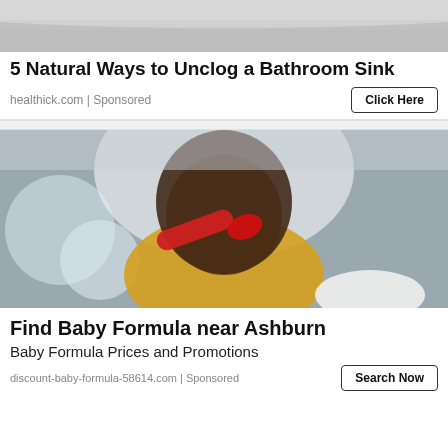[Figure (photo): Partial photo of a bathroom sink, shown at top as a cropped banner image]
5 Natural Ways to Unclog a Bathroom Sink
healthick.com | Sponsored
Click Here
[Figure (photo): A baby in a yellow outfit sitting in a high chair, holding a red spoon up to their mouth, with a white bowl visible in the background]
Find Baby Formula near Ashburn
Baby Formula Prices and Promotions
discount-baby-formula-58614.com | Sponsored
Search Now